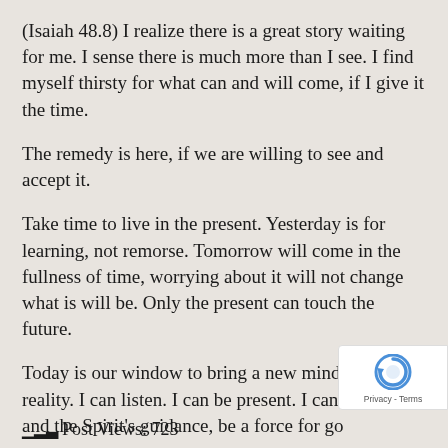(Isaiah 48.8)  I realize there is a great story waiting for me.  I sense there is much more than I see.  I find myself thirsty for what can and will come, if I give it the time.
The remedy is here, if we are willing to see and accept it.
Take time to live in the present.  Yesterday is for learning, not remorse.  Tomorrow will come in the fullness of time, worrying about it will not change what is will be.  Only the present can touch the future.
Today is our window to bring a new mindset into reality.  I can listen.  I can be present.  I can with help and the Spirit’s guidance, be a force for go
Post Views: 723